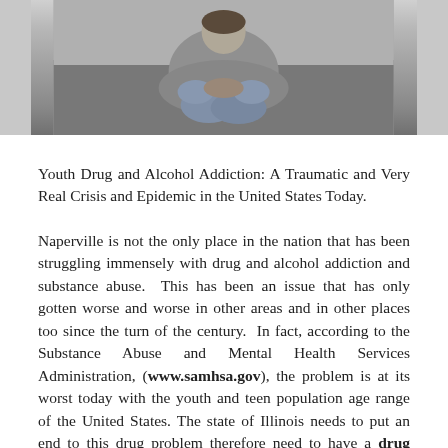[Figure (photo): Black and white photo of a person sitting with knees drawn up, wearing a gray hoodie and jeans, seated against a wall or ground.]
Youth Drug and Alcohol Addiction: A Traumatic and Very Real Crisis and Epidemic in the United States Today.
Naperville is not the only place in the nation that has been struggling immensely with drug and alcohol addiction and substance abuse.  This has been an issue that has only gotten worse and worse in other areas and in other places too since the turn of the century.  In fact, according to the Substance Abuse and Mental Health Services Administration, (www.samhsa.gov), the problem is at its worst today with the youth and teen population age range of the United States. The state of Illinois needs to put an end to this drug problem therefore need to have a drug rehab Naperville regardless of the budget cuts otherwise,